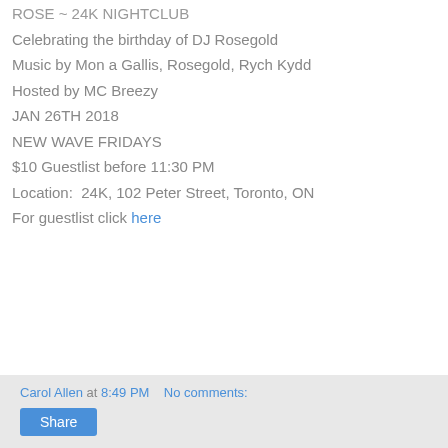ROSE ~ 24K NIGHTCLUB
Celebrating the birthday of DJ Rosegold
Music by Mon a Gallis, Rosegold, Rych Kydd
Hosted by MC Breezy
JAN 26TH 2018
NEW WAVE FRIDAYS
$10 Guestlist before 11:30 PM
Location:  24K, 102 Peter Street, Toronto, ON
For guestlist click here
Carol Allen at 8:49 PM   No comments:  Share